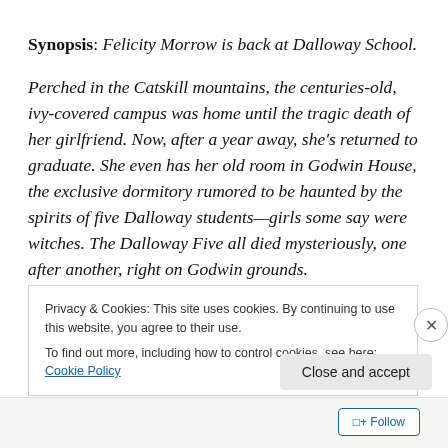Synopsis: Felicity Morrow is back at Dalloway School.
Perched in the Catskill mountains, the centuries-old, ivy-covered campus was home until the tragic death of her girlfriend. Now, after a year away, she's returned to graduate. She even has her old room in Godwin House, the exclusive dormitory rumored to be haunted by the spirits of five Dalloway students—girls some say were witches. The Dalloway Five all died mysteriously, one after another, right on Godwin grounds.
Privacy & Cookies: This site uses cookies. By continuing to use this website, you agree to their use.
To find out more, including how to control cookies, see here: Cookie Policy